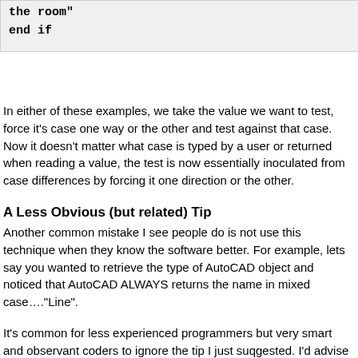the room"
end if
In either of these examples, we take the value we want to test, force it's case one way or the other and test against that case. Now it doesn't matter what case is typed by a user or returned when reading a value, the test is now essentially inoculated from case differences by forcing it one direction or the other.
A Less Obvious (but related) Tip
Another common mistake I see people do is not use this technique when they know the software better. For example, lets say you wanted to retrieve the type of AutoCAD object and noticed that AutoCAD ALWAYS returns the name in mixed case…."Line".
It's common for less experienced programmers but very smart and observant coders to ignore the tip I just suqgested. I'd advise